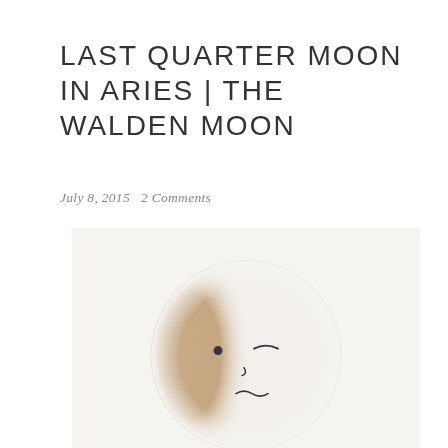LAST QUARTER MOON IN ARIES | THE WALDEN MOON
July 8, 2015   2 Comments
[Figure (illustration): An illustration of a half-illuminated moon depicted as a soft round face. The left half of the moon is shaded in warm beige/tan tones while the right half fades to white. The face features a dotted left eye (open), a closed right eye shown as a curved line, a small nose, and a wavy mouth line, all rendered in thin pencil-like strokes.]